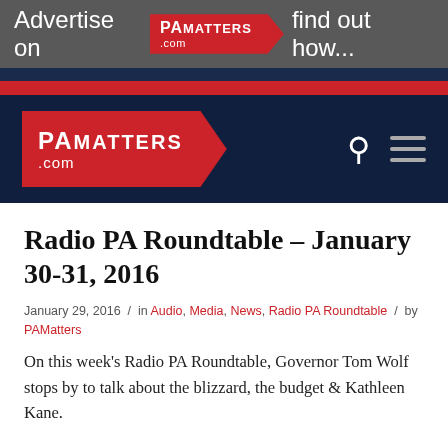[Figure (screenshot): PAMatters.com website screenshot showing ad banner, site header with logo, and article content]
Advertise on PAMatters.com find out how...
Radio PA Roundtable – January 30-31, 2016
January 29, 2016 / in Audio, Media, News, Radio PA Roundtable / by PAMatters
On this week's Radio PA Roundtable, Governor Tom Wolf stops by to talk about the blizzard, the budget & Kathleen Kane.